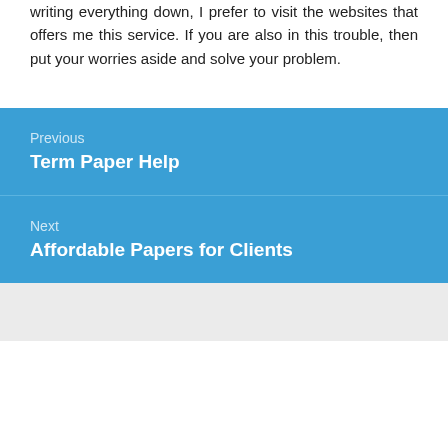writing everything down, I prefer to visit the websites that offers me this service. If you are also in this trouble, then put your worries aside and solve your problem.
Previous
Term Paper Help
Next
Affordable Papers for Clients